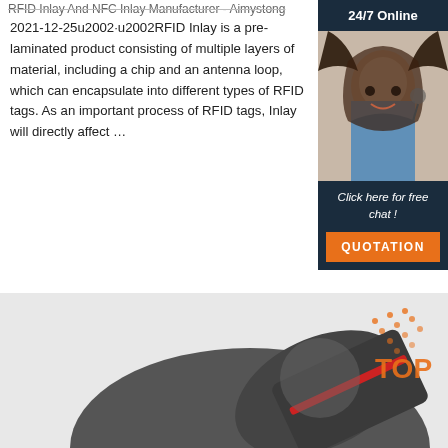RFID Inlay And NFC Inlay Manufacturer - Aimystong
2021-12-25u2002·u2002RFID Inlay is a pre-laminated product consisting of multiple layers of material, including a chip and an antenna loop, which can encapsulate into different types of RFID tags. As an important process of RFID tags, Inlay will directly affect …
[Figure (other): Orange 'Get Price' button]
[Figure (other): Live chat widget showing '24/7 Online' header, photo of smiling woman with headset, 'Click here for free chat!' text, and orange QUOTATION button]
[Figure (photo): Close-up photo of RFID card/inlay product (dark grey material with red stripe) with decorative dot pattern and 'TOP' text overlay in orange]